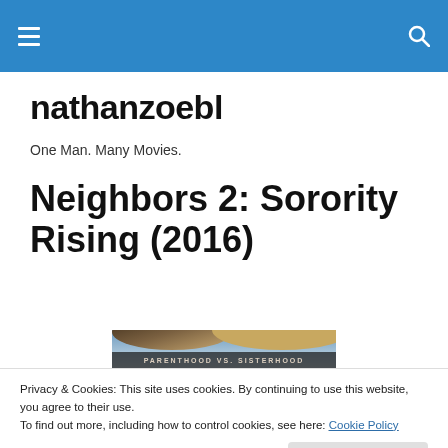nathanzoebl — navigation header bar
nathanzoebl
One Man. Many Movies.
Neighbors 2: Sorority Rising (2016)
[Figure (photo): Movie poster for Neighbors 2: Sorority Rising showing top portion with text PARENTHOOD VS. SISTERHOOD]
Privacy & Cookies: This site uses cookies. By continuing to use this website, you agree to their use.
To find out more, including how to control cookies, see here: Cookie Policy